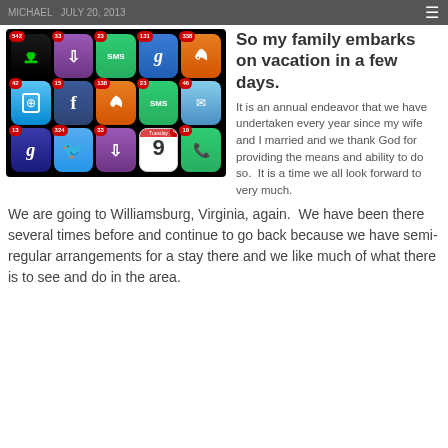MICHAEL · JULY 20, 2013
[Figure (screenshot): Smartphone screen showing app icons with notification badges. Row 1: download app (542), purple download (33), SMS (23), Google (131), RSS (338). Row 2: App Store (42), Facebook (15), RSS orange (138), SMS (23), Mail (46). Row 3: Google (13), Twitter (324), purple download (33), Calendar Tuesday 9 (4), Phone (19).]
So my family embarks on vacation in a few days.
It is an annual endeavor that we have undertaken every year since my wife and I married and we thank God for providing the means and ability to do so. It is a time we all look forward to very much.
We are going to Williamsburg, Virginia, again. We have been there several times before and continue to go back because we have semi-regular arrangements for a stay there and we like much of what there is to see and do in the area.